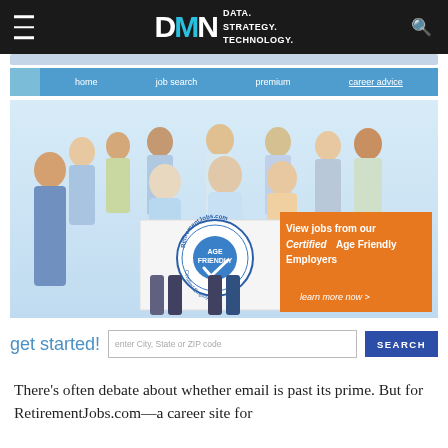DMN DATA. STRATEGY. TECHNOLOGY.
[Figure (screenshot): Screenshot of RetirementJobs.com website showing navigation bar with home, job search, premium, career advice links; a banner image of a group of older adults holding an Age Friendly Certified Employer badge; an orange CTA box saying 'View jobs from our Certified Age Friendly Employers – learn more now >'; and a 'get started!' search bar with city/state/ZIP input and SEARCH button.]
There's often debate about whether email is past its prime. But for RetirementJobs.com—a career site for